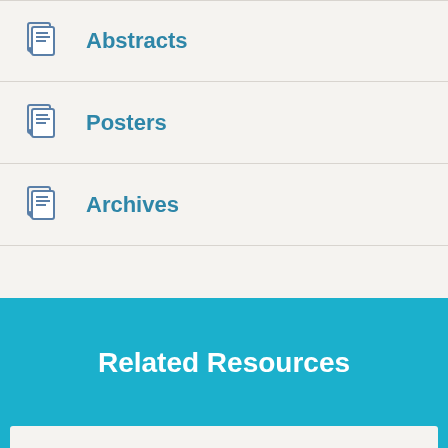Abstracts
Posters
Archives
Related Resources